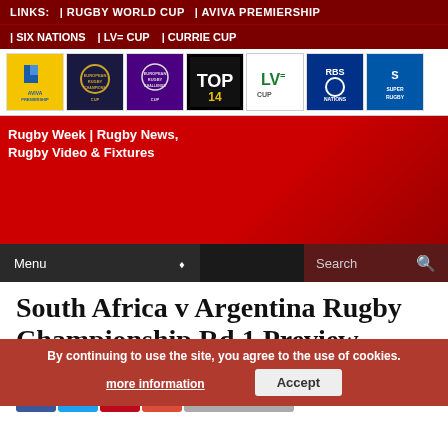LINKS: | RUGBY WORLD CUP | AVIVA PREMIERSHIP | SIX NATIONS | LV= CUP | CURRIE CUP
[Figure (logo): Row of rugby competition logos: Aviva Premiership Rugby, European Rugby Champions Cup, European Rugby Challenge Cup, Top 14, LV= Cup, RBS Nations, Super Rugby]
[Figure (photo): Rugby Week site hero banner with red background and broken image placeholder text: Rugby Week | Rugby News, Rugby Video & Fixtures]
Menu (dropdown) | Search
South Africa v Argentina Rugby Championship Rd.1 Preview
By Ru... (author byline, partially obscured by cookie banner)
By continuing to use the site, you agree to the use of cookies. more information | Accept
0 COMMENTS (social sharing buttons: Facebook, Twitter, Pinterest, Google+)